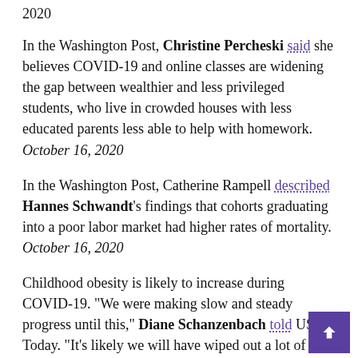2020
In the Washington Post, Christine Percheski said she believes COVID-19 and online classes are widening the gap between wealthier and less privileged students, who live in crowded houses with less educated parents less able to help with homework. October 16, 2020
In the Washington Post, Catherine Rampell described Hannes Schwandt's findings that cohorts graduating into a poor labor market had higher rates of mortality. October 16, 2020
Childhood obesity is likely to increase during COVID-19. "We were making slow and steady progress until this," Diane Schanzenbach told USA Today. "It's likely we will have wiped out a lot of the progress that we've made over the last decade in childhood obesity." October 14,